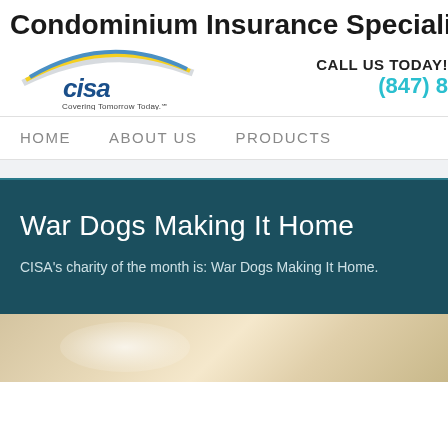Condominium Insurance Specialists of A
[Figure (logo): CISA logo with arc design and tagline 'Covering Tomorrow Today.']
CALL US TODAY!  (847) 8
HOME   ABOUT US   PRODUCTS
War Dogs Making It Home
CISA's charity of the month is: War Dogs Making It Home.
[Figure (photo): Partially visible image at bottom of dark section, tan/beige tones with blurred/blended content]